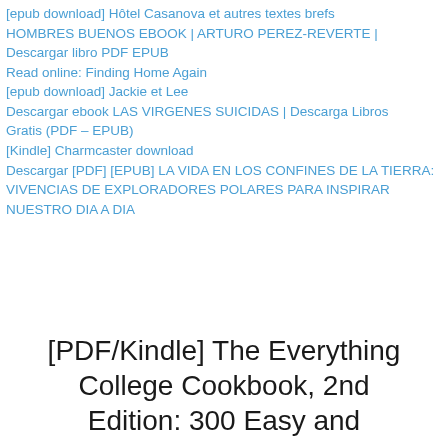[epub download] Hôtel Casanova et autres textes brefs
HOMBRES BUENOS EBOOK | ARTURO PEREZ-REVERTE | Descargar libro PDF EPUB
Read online: Finding Home Again
[epub download] Jackie et Lee
Descargar ebook LAS VIRGENES SUICIDAS | Descarga Libros Gratis (PDF – EPUB)
[Kindle] Charmcaster download
Descargar [PDF] [EPUB] LA VIDA EN LOS CONFINES DE LA TIERRA: VIVENCIAS DE EXPLORADORES POLARES PARA INSPIRAR NUESTRO DIA A DIA
[PDF/Kindle] The Everything College Cookbook, 2nd Edition: 300 Easy and